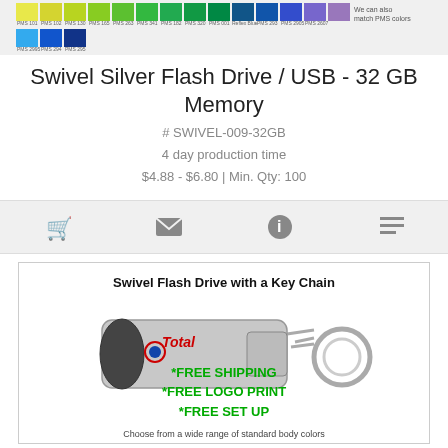[Figure (photo): Color swatch strip showing PMS colors including yellows, greens, blues, and purples with text 'We can also match PMS colors']
Swivel Silver Flash Drive / USB - 32 GB Memory
# SWIVEL-009-32GB
4 day production time
$4.88 - $6.80 | Min. Qty: 100
[Figure (infographic): Action bar with shopping cart, envelope, info, and list icons on gray background]
[Figure (photo): Swivel Flash Drive with a Key Chain — product photo showing silver USB flash drive branded with Total logo attached to a metal keychain ring, with green text overlaid: *FREE SHIPPING *FREE LOGO PRINT *FREE SET UP, and caption: Choose from a wide range of standard body colors]